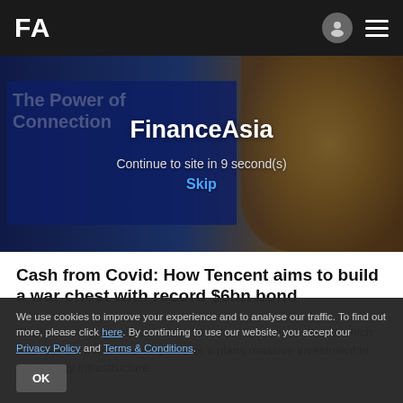FA
[Figure (photo): FinanceAsia advertisement overlay on a background image showing a blue book with 'The Power of Connection' text and gold coins. Overlay shows FinanceAsia logo, countdown 'Continue to site in 9 second(s)' and 'Skip' link.]
Cash from Covid: How Tencent aims to build a war chest with record $6bn bond
The technology giant has sold a $6 billion four-tranche bond which pushes its curve out to 40 years as it plans massive investment in technology infrastructure.
We use cookies to improve your experience and to analyse our traffic. To find out more, please click here. By continuing to use our website, you accept our Privacy Policy and Terms & Conditions.
OK